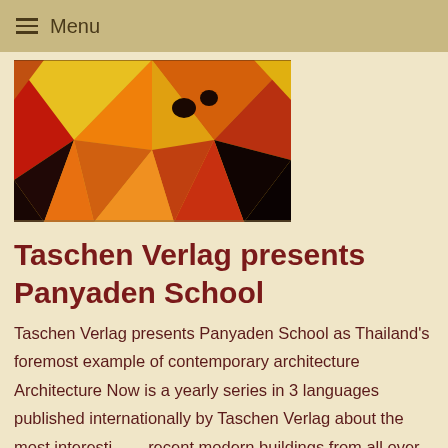≡ Menu
[Figure (photo): Colorful geometric architectural photo with triangular facets in red, yellow, orange and black tones — appears to be a ceiling or canopy structure.]
Taschen Verlag presents Panyaden School
Taschen Verlag presents Panyaden School as Thailand's foremost example of contemporary architecture Architecture Now is a yearly series in 3 languages published internationally by Taschen Verlag about the most interesting recent modern buildings from all over the world.